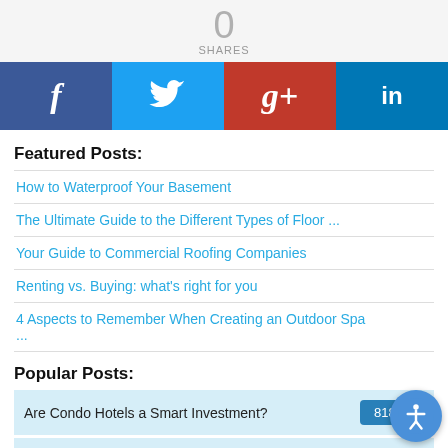0 SHARES
[Figure (infographic): Social share buttons: Facebook (blue), Twitter (light blue), Google+ (red), LinkedIn (blue)]
Featured Posts:
How to Waterproof Your Basement
The Ultimate Guide to the Different Types of Floor ...
Your Guide to Commercial Roofing Companies
Renting vs. Buying: what's right for you
4 Aspects to Remember When Creating an Outdoor Spa ...
Popular Posts:
Are Condo Hotels a Smart Investment? 81882
Is a Condo a Good Investment? 76787